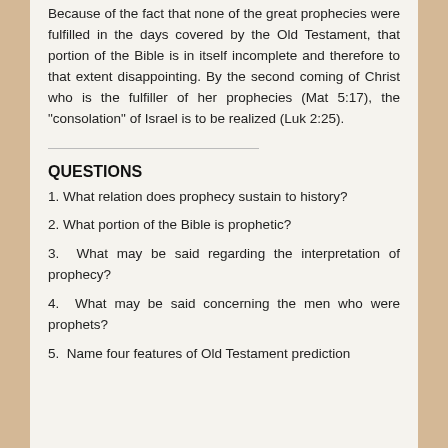Because of the fact that none of the great prophecies were fulfilled in the days covered by the Old Testament, that portion of the Bible is in itself incomplete and therefore to that extent disappointing. By the second coming of Christ who is the fulfiller of her prophecies (Mat 5:17), the "consolation" of Israel is to be realized (Luk 2:25).
QUESTIONS
1. What relation does prophecy sustain to history?
2. What portion of the Bible is prophetic?
3. What may be said regarding the interpretation of prophecy?
4. What may be said concerning the men who were prophets?
5. Name four features of Old Testament prediction